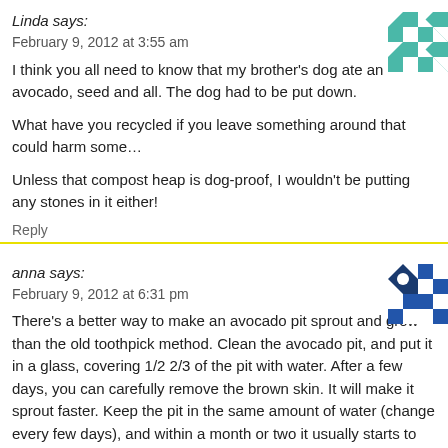Linda says:
February 9, 2012 at 3:55 am
I think you all need to know that my brother's dog ate an avocado, seed and all. The dog had to be put down.
What have you recycled if you leave something around that could harm some...
Unless that compost heap is dog-proof, I wouldn't be putting any stones in it either!
Reply
anna says:
February 9, 2012 at 6:31 pm
There's a better way to make an avocado pit sprout and grow than the old toothpick method. Clean the avocado pit, and put it in a glass, covering 1/2 2/3 of the pit with water. After a few days, you can carefully remove the brown skin. It will make it sprout faster. Keep the pit in the same amount of water (change every few days), and within a month or two it usually starts to sprout. you have two avocados, at least one of them likely will sprout. Once there's so root you can plant it in a pot, or you can even wait until it starts to grow the pla part before planting.